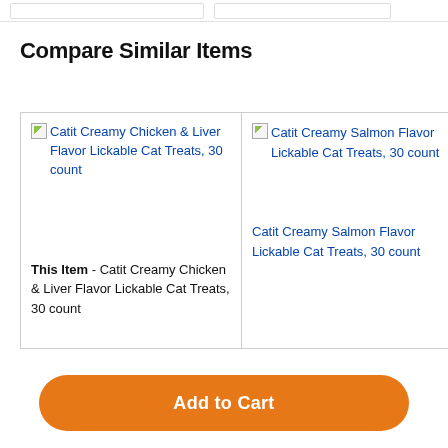Compare Similar Items
| Item 1 | Item 2 | Item 3 |
| --- | --- | --- |
| Catit Creamy Chicken & Liver Flavor Lickable Cat Treats, 30 count | Catit Creamy Salmon Flavor Lickable Cat Treats, 30 count | D... S... C... L... C... c... |
| This Item - Catit Creamy Chicken & Liver Flavor Lickable Cat Treats, 30 count | Catit Creamy Salmon Flavor Lickable Cat Treats, 30 count | H... S... V... T... 3... |
Add to Cart